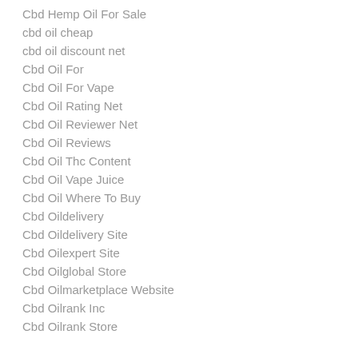Cbd Hemp Oil For Sale
cbd oil cheap
cbd oil discount net
Cbd Oil For
Cbd Oil For Vape
Cbd Oil Rating Net
Cbd Oil Reviewer Net
Cbd Oil Reviews
Cbd Oil Thc Content
Cbd Oil Vape Juice
Cbd Oil Where To Buy
Cbd Oildelivery
Cbd Oildelivery Site
Cbd Oilexpert Site
Cbd Oilglobal Store
Cbd Oilmarketplace Website
Cbd Oilrank Inc
Cbd Oilrank Store